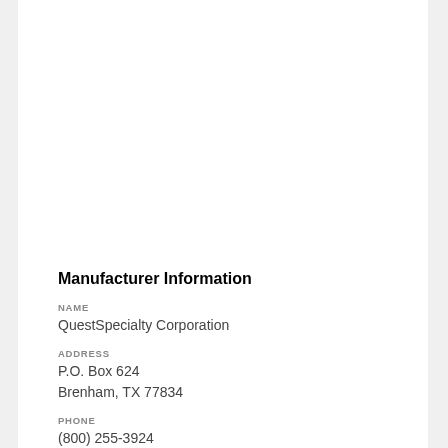Manufacturer Information
NAME
QuestSpecialty Corporation
ADDRESS
P.O. Box 624
Brenham, TX 77834
PHONE
(800) 255-3924